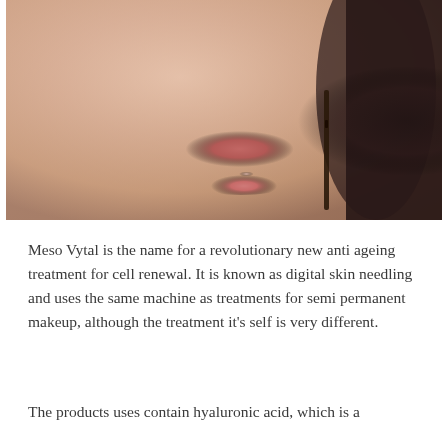[Figure (photo): Close-up photo of a woman's lips and chin from a side/front angle, with what appears to be a cosmetic or medical pen/needle tool near the lips. Dark hair visible on the right side.]
Meso Vytal is the name for a revolutionary new anti ageing treatment for cell renewal. It is known as digital skin needling and uses the same machine as treatments for semi permanent makeup, although the treatment it's self is very different.
The products uses contain hyaluronic acid, which is a substance naturally found in the body and is one of